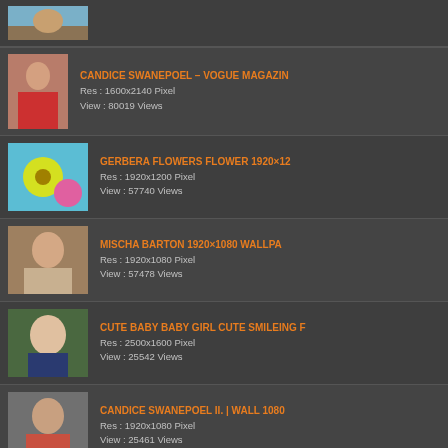CANDICE SWANEPOEL – VOGUE MAGAZIN
Res : 1600x2140 Pixel
View : 80019 Views
GERBERA FLOWERS FLOWER 1920×12
Res : 1920x1200 Pixel
View : 57740 Views
MISCHA BARTON 1920×1080 WALLPA
Res : 1920x1080 Pixel
View : 57478 Views
CUTE BABY BABY GIRL CUTE SMILEING F
Res : 2500x1600 Pixel
View : 25542 Views
CANDICE SWANEPOEL II. | WALL 1080
Res : 1920x1080 Pixel
View : 25461 Views
CUTE BABY SMART LITTLE BABY BOY HD
Res : 2560x1600 Pixel
View : 24515 Views